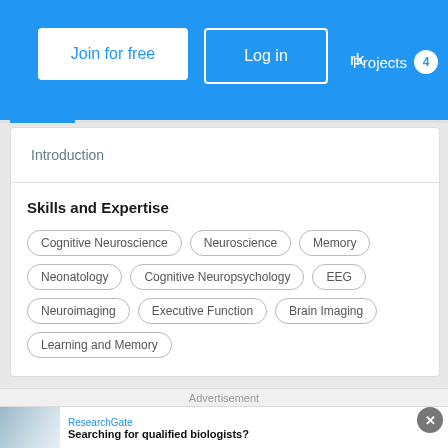Join for free | Log in | rk | Projects 4
Introduction
Skills and Expertise
Cognitive Neuroscience
Neuroscience
Memory
Neonatology
Cognitive Neuropsychology
EEG
Neuroimaging
Executive Function
Brain Imaging
Learning and Memory
Advertisement
ResearchGate
Searching for qualified biologists?